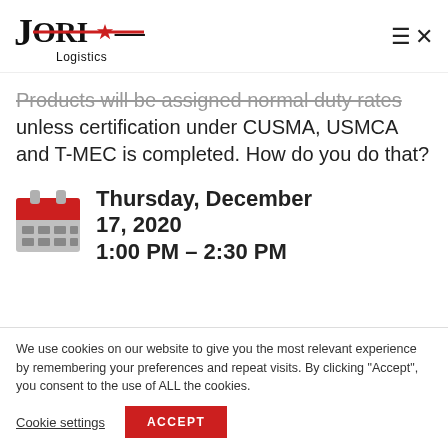JORI Logistics
Products will be assigned normal duty rates unless certification under CUSMA, USMCA and T-MEC is completed. How do you do that?
[Figure (illustration): Calendar emoji icon with red header and grey grid body]
Thursday, December 17, 2020 1:00 PM – 2:30 PM
We use cookies on our website to give you the most relevant experience by remembering your preferences and repeat visits. By clicking "Accept", you consent to the use of ALL the cookies.
Cookie settings | ACCEPT